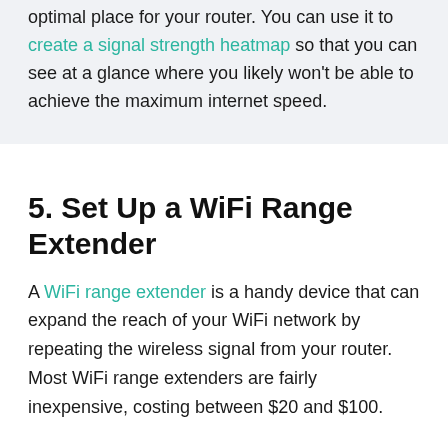optimal place for your router. You can use it to create a signal strength heatmap so that you can see at a glance where you likely won't be able to achieve the maximum internet speed.
5. Set Up a WiFi Range Extender
A WiFi range extender is a handy device that can expand the reach of your WiFi network by repeating the wireless signal from your router. Most WiFi range extenders are fairly inexpensive, costing between $20 and $100.